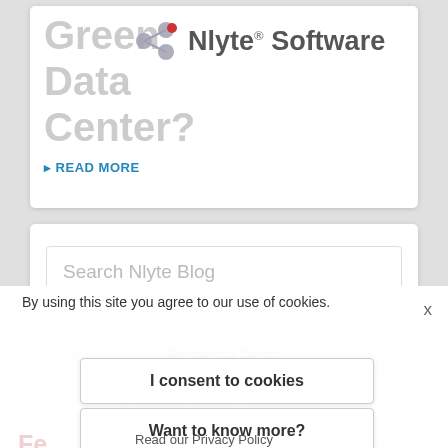[Figure (logo): Nlyte Software logo with molecule/node icon in grey and red]
Green Data Center?
READ MORE
Search Nlyte Blog
Nlyte in Action
By using this site you agree to our use of cookies.
x
Request a Demo
I consent to cookies
Want to know more?
Featured Review
Read our Privacy Policy